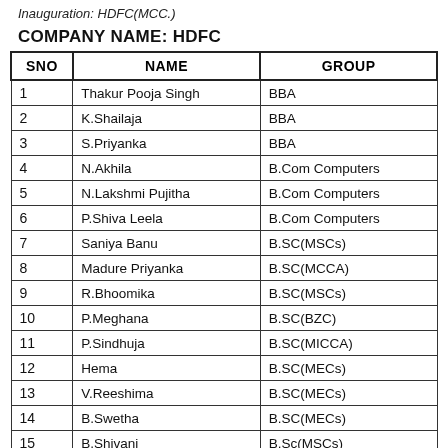Inauguration: HDFC(MCC.)
COMPANY NAME: HDFC
| SNO | NAME | GROUP |
| --- | --- | --- |
| 1 | Thakur Pooja Singh | BBA |
| 2 | K.Shailaja | BBA |
| 3 | S.Priyanka | BBA |
| 4 | N.Akhila | B.Com Computers |
| 5 | N.Lakshmi Pujitha | B.Com Computers |
| 6 | P.Shiva Leela | B.Com Computers |
| 7 | Saniya Banu | B.SC(MSCs) |
| 8 | Madure Priyanka | B.SC(MCCA) |
| 9 | R.Bhoomika | B.SC(MSCs) |
| 10 | P.Meghana | B.SC(BZC) |
| 11 | P.Sindhuja | B.SC(MICCA) |
| 12 | Hema | B.SC(MECs) |
| 13 | V.Reeshima | B.SC(MECs) |
| 14 | B.Swetha | B.SC(MECs) |
| 15 | B.Shivani | B.Sc(MSCs) |
| 16 | M.Kaveri | B.SC(MSCs) |
| 17 | Poonam Kumari | B.Com Computers |
| 18. | A.Lalitha | B.Com Computers |